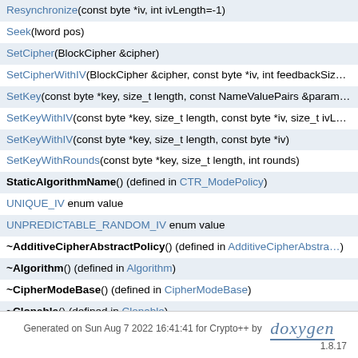Resynchronize(const byte *iv, int ivLength=-1)
Seek(lword pos)
SetCipher(BlockCipher &cipher)
SetCipherWithIV(BlockCipher &cipher, const byte *iv, int feedbackSiz…
SetKey(const byte *key, size_t length, const NameValuePairs &param…
SetKeyWithIV(const byte *key, size_t length, const byte *iv, size_t ivL…
SetKeyWithIV(const byte *key, size_t length, const byte *iv)
SetKeyWithRounds(const byte *key, size_t length, int rounds)
StaticAlgorithmName() (defined in CTR_ModePolicy)
UNIQUE_IV enum value
UNPREDICTABLE_RANDOM_IV enum value
~AdditiveCipherAbstractPolicy() (defined in AdditiveCipherAbstra…
~Algorithm() (defined in Algorithm)
~CipherModeBase() (defined in CipherModeBase)
~Clonable() (defined in Clonable)
~CTR_ModePolicy() (defined in CTR_ModePolicy)
~SimpleKeyingInterface() (defined in SimpleKeyingInterface)
~StreamTransformation() (defined in StreamTransformation)
Generated on Sun Aug 7 2022 16:41:41 for Crypto++ by doxygen 1.8.17